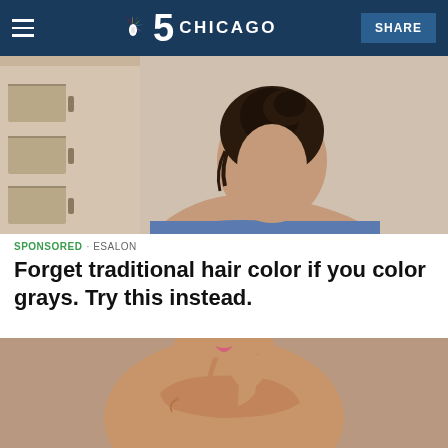NBC 5 Chicago — SHARE
[Figure (photo): Back of a woman's head with dark hair in an updo, wearing a blue top, with a light-colored dresser in the background]
SPONSORED · ESALON
Forget traditional hair color if you color grays. Try this instead.
[Figure (photo): Woman in a tan/nude crop top posing with her hand near her shoulder against a beige background]